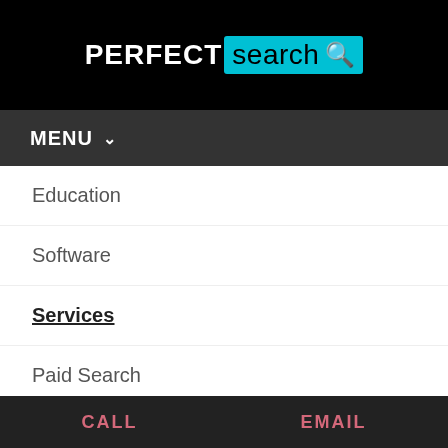[Figure (logo): Perfect Search logo: white bold text 'PERFECT' followed by a cyan/turquoise box containing 'search' in black and a magnifying glass icon]
MENU ▾
Education
Software
Services
Paid Search
SEO
Content
Design
Social Me…
CALL    EMAIL